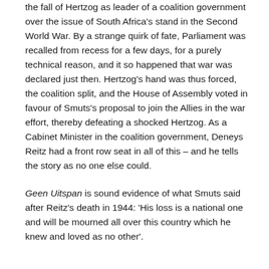the fall of Hertzog as leader of a coalition government over the issue of South Africa's stand in the Second World War. By a strange quirk of fate, Parliament was recalled from recess for a few days, for a purely technical reason, and it so happened that war was declared just then. Hertzog's hand was thus forced, the coalition split, and the House of Assembly voted in favour of Smuts's proposal to join the Allies in the war effort, thereby defeating a shocked Hertzog. As a Cabinet Minister in the coalition government, Deneys Reitz had a front row seat in all of this – and he tells the story as no one else could.
Geen Uitspan is sound evidence of what Smuts said after Reitz's death in 1944: 'His loss is a national one and will be mourned all over this country which he knew and loved as no other'.